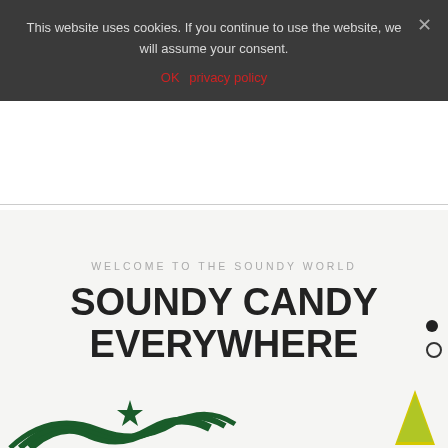This website uses cookies. If you continue to use the website, we will assume your consent.
OK   privacy policy
WELCOME TO THE SOUNDY WORLD
SOUNDY CANDY EVERYWHERE
[Figure (illustration): Partial illustration at the bottom showing stylized dark green leaf/wave designs with a star in the center, and a yellow/green triangle shape on the right side]